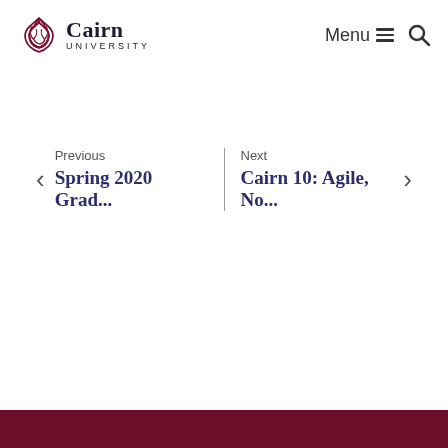Cairn University — Menu | Search
Previous Spring 2020 Grad...
Next Cairn 10: Agile, No...